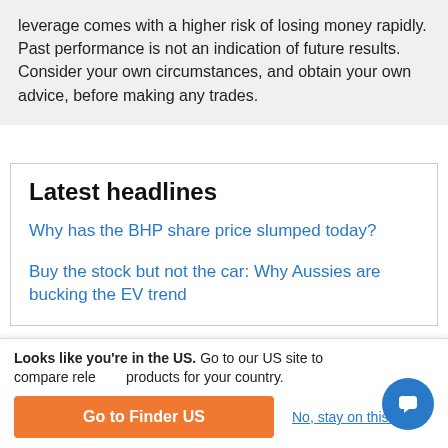leverage comes with a higher risk of losing money rapidly. Past performance is not an indication of future results. Consider your own circumstances, and obtain your own advice, before making any trades.
Latest headlines
Why has the BHP share price slumped today?
Buy the stock but not the car: Why Aussies are bucking the EV trend
Looks like you're in the US. Go to our US site to compare relevant products for your country.